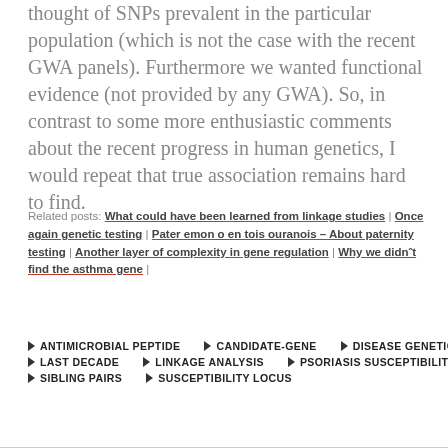thought of SNPs prevalent in the particular population (which is not the case with the recent GWA panels). Furthermore we wanted functional evidence (not provided by any GWA). So, in contrast to some more enthusiastic comments about the recent progress in human genetics, I would repeat that true association remains hard to find.
Related posts: What could have been learned from linkage studies | Once again genetic testing | Pater emon o en tois ouranois – About paternity testing | Another layer of complexity in gene regulation | Why we didn't find the asthma gene |
ANTIMICROBIAL PEPTIDE
CANDIDATE-GENE
DISEASE GENETICS
LAST DECADE
LINKAGE ANALYSIS
PSORIASIS SUSCEPTIBILITY
SIBLING PAIRS
SUSCEPTIBILITY LOCUS